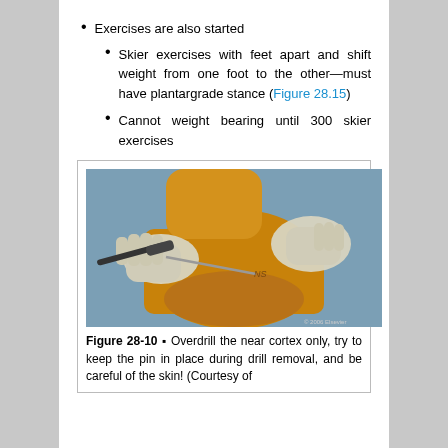Exercises are also started
Skier exercises with feet apart and shift weight from one foot to the other—must have plantargrade stance (Figure 28.15)
Cannot weight bearing until 300 skier exercises
[Figure (photo): Medical photograph showing a surgical procedure on a foot/ankle. Gloved hands hold surgical instruments performing a drilling procedure on what appears to be a foot with orange/iodine skin preparation. The procedure involves overdrilling the near cortex with a pin in place.]
Figure 28-10 ▪ Overdrill the near cortex only, try to keep the pin in place during drill removal, and be careful of the skin! (Courtesy of